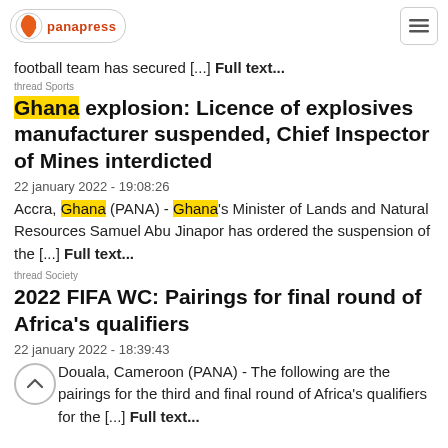panapress
football team has secured [...] Full text...
thread Sports
Ghana explosion: Licence of explosives manufacturer suspended, Chief Inspector of Mines interdicted
22 january 2022 - 19:08:26
Accra, Ghana (PANA) - Ghana's Minister of Lands and Natural Resources Samuel Abu Jinapor has ordered the suspension of the [...] Full text...
thread Society
2022 FIFA WC: Pairings for final round of Africa's qualifiers
22 january 2022 - 18:39:43
Douala, Cameroon (PANA) - The following are the pairings for the third and final round of Africa's qualifiers for the [...] Full text...